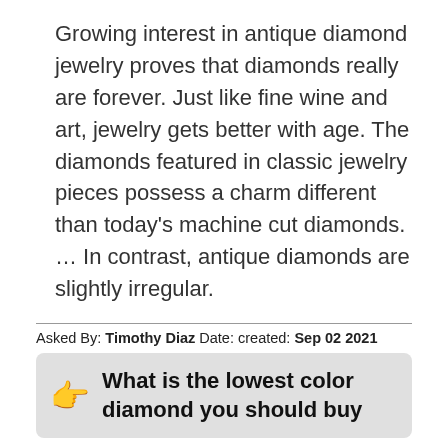Growing interest in antique diamond jewelry proves that diamonds really are forever. Just like fine wine and art, jewelry gets better with age. The diamonds featured in classic jewelry pieces possess a charm different than today's machine cut diamonds. … In contrast, antique diamonds are slightly irregular.
Asked By: Timothy Diaz Date: created: Sep 02 2021
What is the lowest color diamond you should buy
Answered By: Jeffery Evans Date: created: Sep 03 2021
The M color grade is typically the lowest color grade offered by online